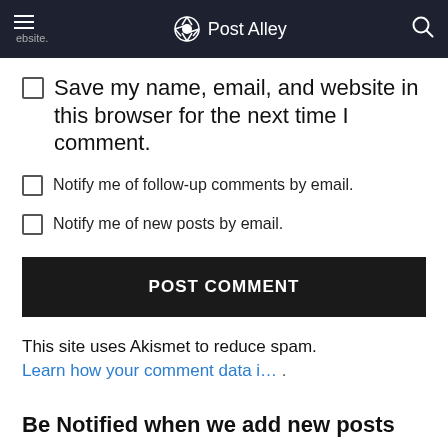Post Alley
Save my name, email, and website in this browser for the next time I comment.
Notify me of follow-up comments by email.
Notify me of new posts by email.
POST COMMENT
This site uses Akismet to reduce spam. Learn how your comment data i… .
Be Notified when we add new posts
Join 1,688 other subscribers